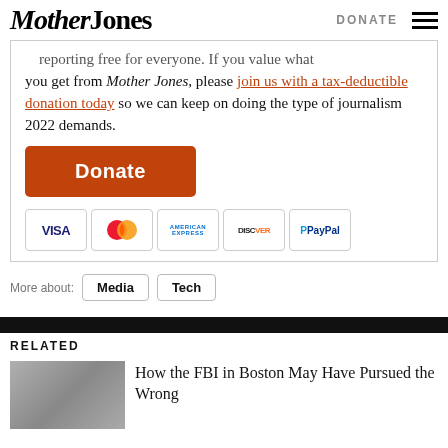Mother Jones | DONATE
reporting free for everyone. If you value what you get from Mother Jones, please join us with a tax-deductible donation today so we can keep on doing the type of journalism 2022 demands.
[Figure (other): Donate button (orange) and payment icons: VISA, MasterCard, American Express, Discover, PayPal]
More about: Media Tech
RELATED
How the FBI in Boston May Have Pursued the Wrong